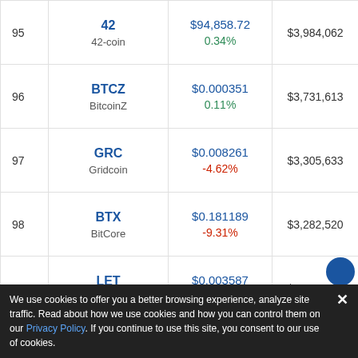| Rank | Coin | Price | Market Cap | Volume |
| --- | --- | --- | --- | --- |
| 95 | 42 / 42-coin | $94,858.72 / 0.34% | $3,984,062 |  |
| 96 | BTCZ / BitcoinZ | $0.000351 / 0.11% | $3,731,613 | 10,629,7... |
| 97 | GRC / Gridcoin | $0.008261 / -4.62% | $3,305,633 | 400,... |
| 98 | BTX / BitCore | $0.181189 / -9.31% | $3,282,520 | 18... |
| 99 | LET / LinkEye | $0.003587 / -7.57% | $3,228,499 | 899... |
| 100 | FTC / Feathercoin | $0.013628 / -14.83% | $3,224,488 | 236... |
We use cookies to offer you a better browsing experience, analyze site traffic. Read about how we use cookies and how you can control them on our Privacy Policy. If you continue to use this site, you consent to our use of cookies.